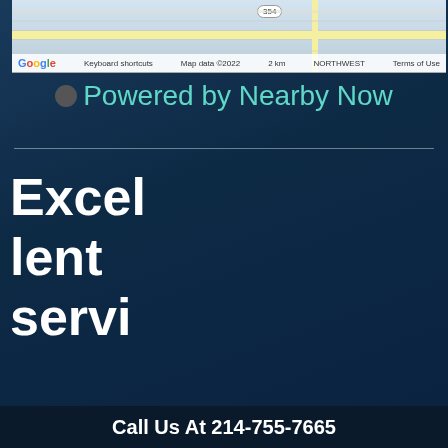[Figure (map): Google Maps screenshot showing a road map with scale bar, keyboard shortcuts, map data 2022 copyright, and Terms of Use link]
Powered by Nearby Now
Excellent service
[Figure (map): Google Maps screenshot showing Vitruvian Park area with blue location pin, map data 2022]
Call Us At 214-755-7665